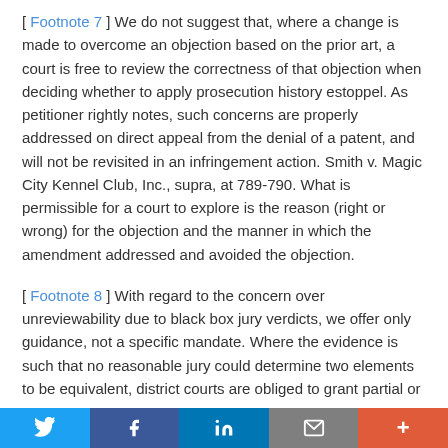[ Footnote 7 ] We do not suggest that, where a change is made to overcome an objection based on the prior art, a court is free to review the correctness of that objection when deciding whether to apply prosecution history estoppel. As petitioner rightly notes, such concerns are properly addressed on direct appeal from the denial of a patent, and will not be revisited in an infringement action. Smith v. Magic City Kennel Club, Inc., supra, at 789-790. What is permissible for a court to explore is the reason (right or wrong) for the objection and the manner in which the amendment addressed and avoided the objection.
[ Footnote 8 ] With regard to the concern over unreviewability due to black box jury verdicts, we offer only guidance, not a specific mandate. Where the evidence is such that no reasonable jury could determine two elements to be equivalent, district courts are obliged to grant partial or
Twitter | Facebook | LinkedIn | Email | More